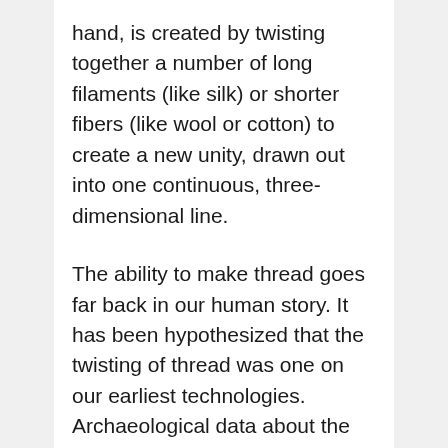hand, is created by twisting together a number of long filaments (like silk) or shorter fibers (like wool or cotton) to create a new unity, drawn out into one continuous, three-dimensional line.
The ability to make thread goes far back in our human story. It has been hypothesized that the twisting of thread was one on our earliest technologies. Archaeological data about the most ancient threads is hard to find, for threads are made of organic materials that don't survive time and change as easily as do bones and stones. Recently, through, thread remnants dating back to around 41,000 to 52,000 years ago were discovered in southern France in a rock shelter that had been inhabited by Neanderthals — those distant